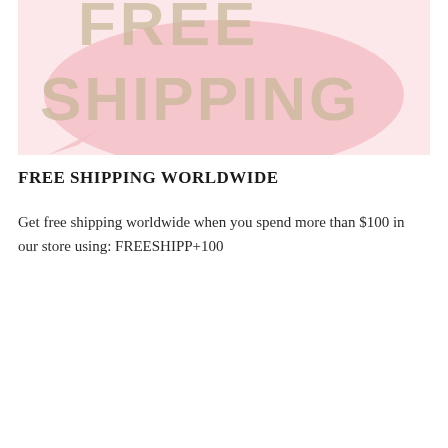[Figure (illustration): Pink speech bubble graphic with large tan/beige stylized letters reading FREE SHIPPING on a light pink background]
FREE SHIPPING WORLDWIDE
Get free shipping worldwide when you spend more than $100 in our store using: FREESHIPP+100